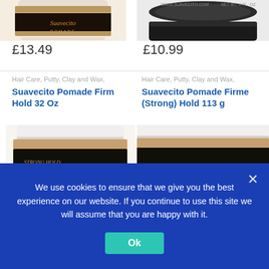[Figure (photo): Suavecito Pomade jar top view, partially cropped at top]
[Figure (photo): Suavecito Pomade dark jar top view, partially cropped]
£13.49
£10.99
Hair Care, Putty, Clay and Wax,
Hair Care, Putty, Clay and Wax,
Suavecito Pomade Firm Hold 32 Oz
Suavecito Pomade Firme (Strong) Hold 113 g
[Figure (photo): Suavecito Pomade Firm Hold 32 Oz jar with black label and golden text]
[Figure (photo): Suavecito Pomade Firme Hold 113g jar with black label and golden text]
We use cookies to ensure that we give you the best experience on our website. If you continue to use this site we will assume that you are happy with it.
Ok